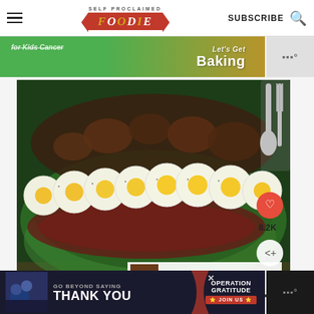SELF PROCLAIMED FOODIE | SUBSCRIBE
[Figure (photo): Advertisement banner with green and gold background, text 'Kids Cancer' and 'Let's Get Baking']
[Figure (photo): Spinach salad with sliced hard-boiled eggs, mushrooms, and bacon on a wooden board. Overlay icons include heart (8.2K saves), share button, and 'WHAT'S NEXT → Steak Salad' promo.]
ADVERTISEMENT
[Figure (photo): Advertisement banner: GO BEYOND SAYING THANK YOU — Operation Gratitude JOIN US]